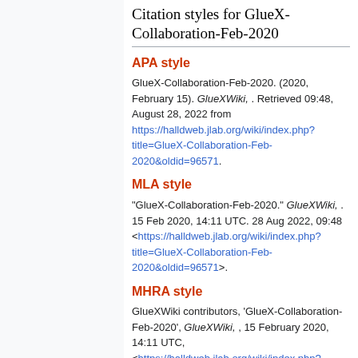Citation styles for GlueX-Collaboration-Feb-2020
APA style
GlueX-Collaboration-Feb-2020. (2020, February 15). GlueXWiki, . Retrieved 09:48, August 28, 2022 from https://halldweb.jlab.org/wiki/index.php?title=GlueX-Collaboration-Feb-2020&oldid=96571.
MLA style
"GlueX-Collaboration-Feb-2020." GlueXWiki, . 15 Feb 2020, 14:11 UTC. 28 Aug 2022, 09:48 <https://halldweb.jlab.org/wiki/index.php?title=GlueX-Collaboration-Feb-2020&oldid=96571>.
MHRA style
GlueXWiki contributors, 'GlueX-Collaboration-Feb-2020', GlueXWiki, , 15 February 2020, 14:11 UTC, <https://halldweb.jlab.org/wiki/index.php?